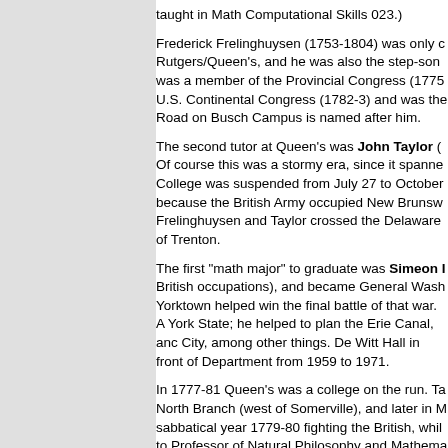taught in Math Computational Skills 023.)
Frederick Frelinghuysen (1753-1804) was only c Rutgers/Queen's, and he was also the step-son was a member of the Provincial Congress (1775 U.S. Continental Congress (1782-3) and was the Road on Busch Campus is named after him.
The second tutor at Queen's was John Taylor ( Of course this was a stormy era, since it spanne College was suspended from July 27 to October because the British Army occupied New Brunsw Frelinghuysen and Taylor crossed the Delaware of Trenton.
The first "math major" to graduate was Simeon I British occupations), and became General Wash Yorktown helped win the final battle of that war. A York State; he helped to plan the Erie Canal, anc City, among other things. De Witt Hall in front of Department from 1959 to 1971.
In 1777-81 Queen's was a college on the run. Ta North Branch (west of Somerville), and later in M sabbatical year 1779-80 fighting the British, whil to Professor of Natural Philosophy and Mathema Frelinghuysen stepped in for a few years until Ta academic pastures, ending up at Union College. in 1998) on Busch Campus are named after him
From 1790-1795 there was a succession of seve 1791 the College moved out of the Red Lion (wh of town (George and Liberty Streets in New Brun (High School Geometry) and surveying wore addr